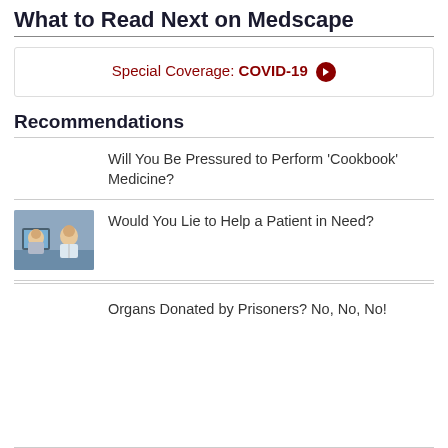What to Read Next on Medscape
Special Coverage: COVID-19 →
Recommendations
Will You Be Pressured to Perform 'Cookbook' Medicine?
[Figure (photo): Two medical professionals, one elderly patient and a healthcare worker, looking at a computer screen]
Would You Lie to Help a Patient in Need?
Organs Donated by Prisoners? No, No, No!